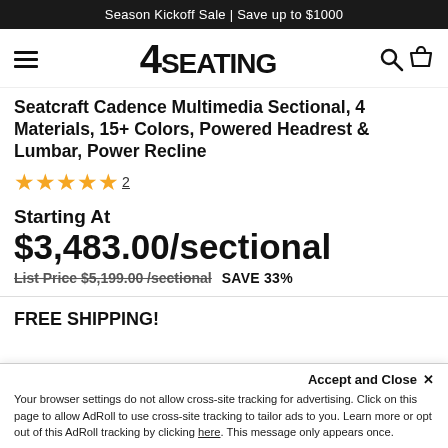Season Kickoff Sale | Save up to $1000
[Figure (logo): 4Seating logo with hamburger menu, search and cart icons]
Seatcraft Cadence Multimedia Sectional, 4 Materials, 15+ Colors, Powered Headrest & Lumbar, Power Recline
★★★★★ 2
Starting At
$3,483.00/sectional
List Price $5,199.00 /sectional   SAVE 33%
FREE SHIPPING!
Accept and Close ×
Your browser settings do not allow cross-site tracking for advertising. Click on this page to allow AdRoll to use cross-site tracking to tailor ads to you. Learn more or opt out of this AdRoll tracking by clicking here. This message only appears once.